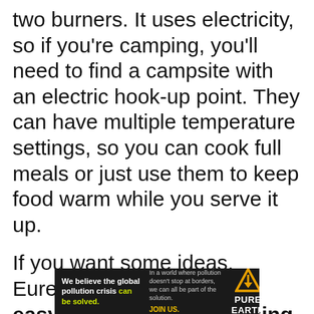two burners. It uses electricity, so if you're camping, you'll need to find a campsite with an electric hook-up point. They can have multiple temperature settings, so you can cook full meals or just use them to keep food warm while you serve it up.
If you want some ideas, Eureka! have collected 25 easy camping recipes using 5 ingredients or less...
[Figure (other): Advertisement banner for Pure Earth organization. Dark background with text: 'We believe the global pollution crisis can be solved.' and 'In a world where pollution doesn't stop at borders, we can all be part of the solution. JOIN US.' with Pure Earth logo (triangle with downward arrow icon) on the right.]